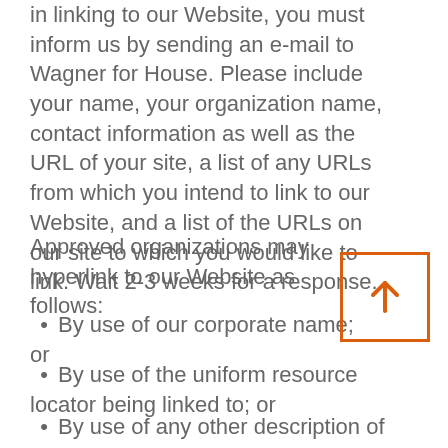in linking to our Website, you must inform us by sending an e-mail to Wagner for House. Please include your name, your organization name, contact information as well as the URL of your site, a list of any URLs from which you intend to link to our Website, and a list of the URLs on our site to which you would like to link. Wait 2-3 weeks for a response.
Approved organizations may hyperlink to our Website as follows:
By use of our corporate name; or
By use of the uniform resource locator being linked to; or
By use of any other description of our Website being linked to that makes sense within the context and format of